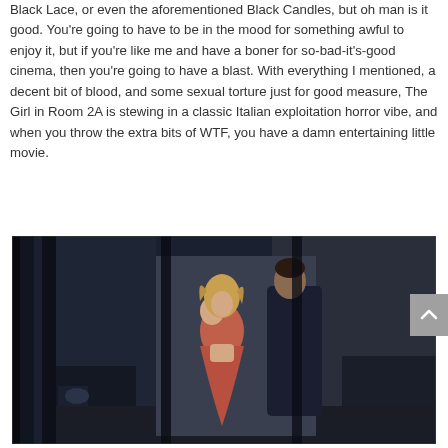Black Lace, or even the aforementioned Black Candles, but oh man is it good. You're going to have to be in the mood for something awful to enjoy it, but if you're like me and have a boner for so-bad-it's-good cinema, then you're going to have a blast. With everything I mentioned, a decent bit of blood, and some sexual torture just for good measure, The Girl in Room 2A is stewing in a classic Italian exploitation horror vibe, and when you throw the extra bits of WTF, you have a damn entertaining little movie.
[Figure (photo): A film still showing a woman in a red dress standing and facing a man in a dark suit, photographed through vertical bars or columns in a dark, moody setting.]